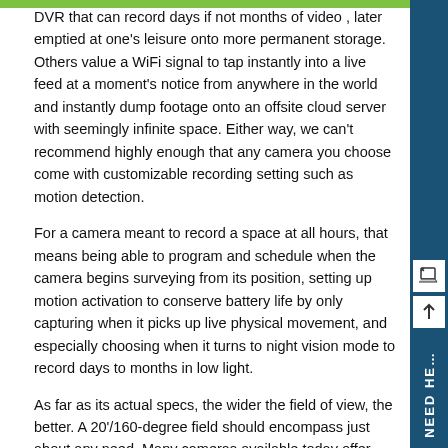Some people prefer a sizable built in DVR that can record days if not months of video , later emptied at one's leisure onto more permanent storage. Others value a WiFi signal to tap instantly into a live feed at a moment's notice from anywhere in the world and instantly dump footage onto an offsite cloud server with seemingly infinite space. Either way, we can't recommend highly enough that any camera you choose come with customizable recording setting such as motion detection.
For a camera meant to record a space at all hours, that means being able to program and schedule when the camera begins surveying from its position, setting up motion activation to conserve battery life by only capturing when it picks up live physical movement, and especially choosing when it turns to night vision mode to record days to months in low light.
As far as its actual specs, the wider the field of view, the better. A 20'/160-degree field should encompass just about any need. Many cameras available today offer 720p resolution for optimal clarity, but a number of models allow users to dial back picture quality to conserve memory and/or battery life. Zero in on models with invisible white IR illuminators and especially any model that can be synched to a system's sensors to kick on when certain doors or windows open. Particularly sharp models can even pick up vibration, sound or body heat as activation triggers.